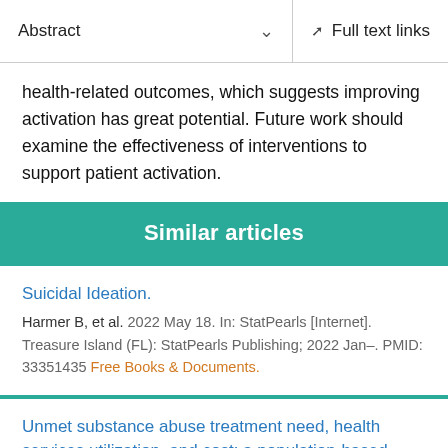Abstract  ∨    Full text links
health-related outcomes, which suggests improving activation has great potential. Future work should examine the effectiveness of interventions to support patient activation.
Similar articles
Suicidal Ideation.
Harmer B, et al. 2022 May 18. In: StatPearls [Internet]. Treasure Island (FL): StatPearls Publishing; 2022 Jan–. PMID: 33351435 Free Books & Documents.
Unmet substance abuse treatment need, health services utilization, and cost: a population-based emergency department study.